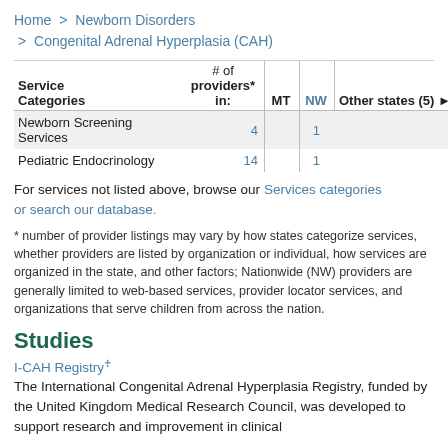Home > Newborn Disorders > Congenital Adrenal Hyperplasia (CAH)
| Service Categories | # of providers* in: | MT | NW | Other states (5) (show) |
| --- | --- | --- | --- | --- |
| Newborn Screening Services |  | 4 | 1 |  |
| Pediatric Endocrinology |  | 14 | 1 |  |
For services not listed above, browse our Services categories or search our database.
* number of provider listings may vary by how states categorize services, whether providers are listed by organization or individual, how services are organized in the state, and other factors; Nationwide (NW) providers are generally limited to web-based services, provider locator services, and organizations that serve children from across the nation.
Studies
I-CAH Registry
The International Congenital Adrenal Hyperplasia Registry, funded by the United Kingdom Medical Research Council, was developed to support research and improvement in clinical